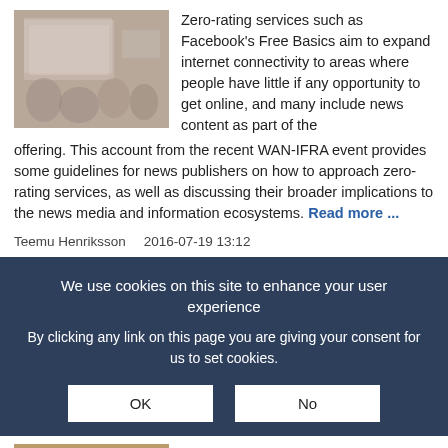[Figure (photo): A photo showing people in a meeting or conference room with a presentation screen visible in the background.]
Zero-rating services such as Facebook's Free Basics aim to expand internet connectivity to areas where people have little if any opportunity to get online, and many include news content as part of the offering. This account from the recent WAN-IFRA event provides some guidelines for news publishers on how to approach zero-rating services, as well as discussing their broader implications to the news media and information ecosystems. Read more ...
Teemu Henriksson   2016-07-19 13:12
We use cookies on this site to enhance your user experience
By clicking any link on this page you are giving your consent for us to set cookies.
OK   No
[Figure (photo): A partial photo showing people, partially obscured by cookie banner.]
the judicial framing of freedom of expression online and the recently implemented network neutrality rule. In this guest post,